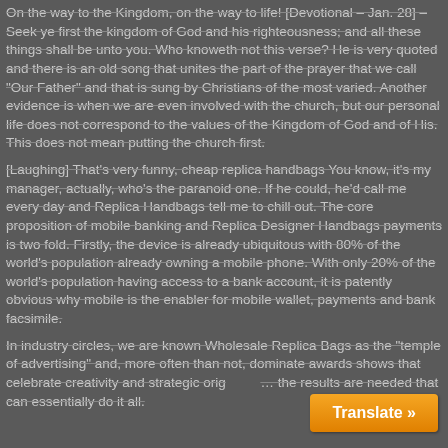On the way to the Kingdom, on the way to life! [Devotional – Jan. 28] – Seek ye first the kingdom of God and his righteousness; and all these things shall be unto you. Who knoweth not this verse? He is very quoted and there is an old song that unites the part of the prayer that we call "Our Father" and that is sung by Christians of the most varied. Another evidence is when we are even involved with the church, but our personal life does not correspond to the values of the Kingdom of God and of His.
This does not mean putting the church first.
[Laughing] That's very funny, cheap replica handbags You know, it's my manager, actually, who's the paranoid one. If he could, he'd call me every day and Replica Handbags tell me to chill out. The core proposition of mobile banking and Replica Designer Handbags payments is two fold. Firstly, the device is already ubiquitous with 80% of the world's population already owning a mobile phone. With only 20% of the world's population having access to a bank account, it is patently obvious why mobile is the enabler for mobile wallet, payments and bank facsimile.
In industry circles, we are known Wholesale Replica Bags as the "temple of advertising" and, more often than not, dominate awards shows that celebrate creativity and strategic orig… the results are needed that can essentially do it all.
[Figure (other): Orange 'Translate »' button in the bottom-right corner of the page]